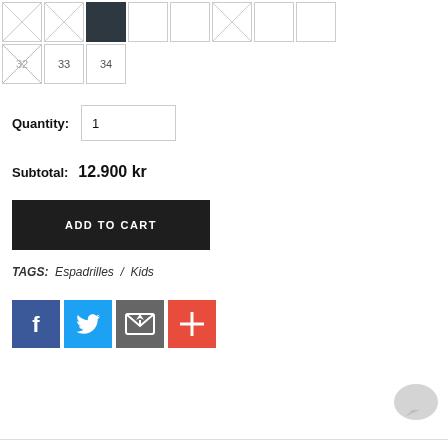[Figure (screenshot): Size selector grid - top row with sizes including one selected (dark), others empty or crossed out]
[Figure (screenshot): Size selector second row: size 32 (crossed out), 33, 34]
Quantity: 1
Subtotal: 12.900 kr
ADD TO CART
TAGS: Espadrilles / Kids
[Figure (screenshot): Social sharing buttons: Facebook, Twitter, Email/share, Plus]